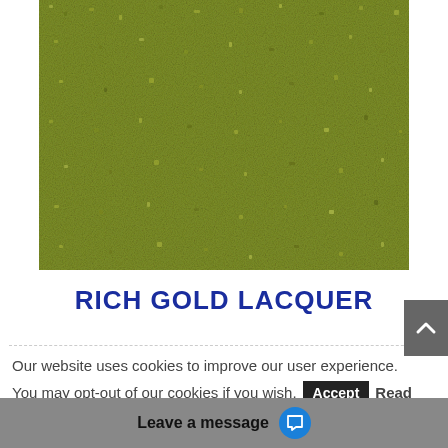[Figure (photo): Close-up texture photo of rich gold lacquer finish — olive/khaki green granular textured surface]
RICH GOLD LACQUER
Our website uses cookies to improve our user experience. You may opt-out of our cookies if you wish. Accept Read